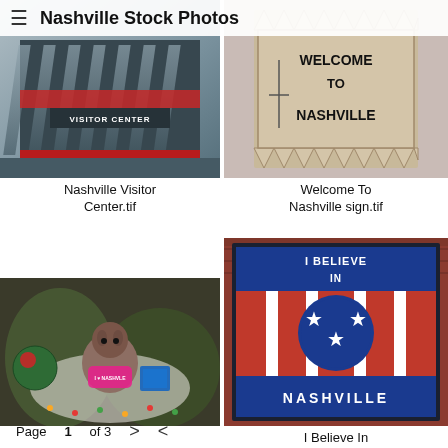≡  Nashville Stock Photos
[Figure (photo): Nashville Visitor Center building exterior with diagonal glass facade and signage]
[Figure (photo): Wooden Welcome To Nashville sign with zigzag edges]
Nashville Visitor Center.tif
Welcome To Nashville sign.tif
[Figure (photo): Stuffed animal toys with I Love Nashville shirt among Christmas decorations]
[Figure (photo): I Believe In Nashville mural featuring Tennessee state flag design on garage door]
I Believe In Nashville.tif
Page 1 of 3  >  <